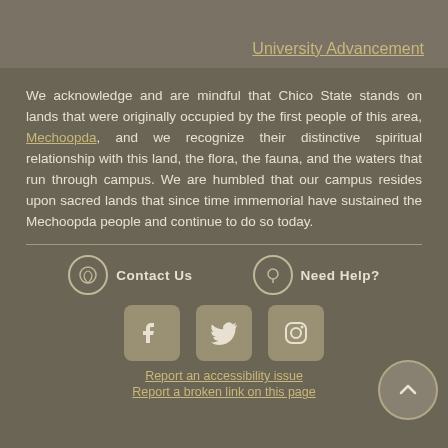University Advancement
We acknowledge and are mindful that Chico State stands on lands that were originally occupied by the first people of this area, Mechoopda, and we recognize their distinctive spiritual relationship with this land, the flora, the fauna, and the waters that run through campus. We are humbled that our campus resides upon sacred lands that since time immemorial have sustained the Mechoopda people and continue to do so today.
Contact Us
Need Help?
[Figure (logo): Facebook, Twitter, and Instagram social media icons]
Report an accessibility issue
Report a broken link on this page